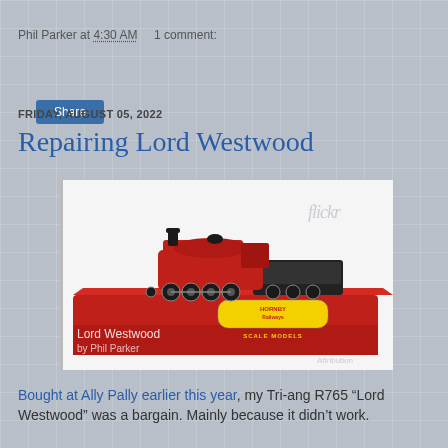Phil Parker at 4:30 AM    1 comment:
Share
FRIDAY, AUGUST 05, 2022
Repairing Lord Westwood
[Figure (photo): A red Hornby Railways scale model locomotive 'Lord Westwood' displayed on its red presentation box. The Flickr watermark is visible. Caption reads 'Lord Westwood by Phil Parker'.]
Bought at Ally Pally earlier this year, my Tri-ang R765 "Lord Westwood" was a bargain. Mainly because it didn't work.